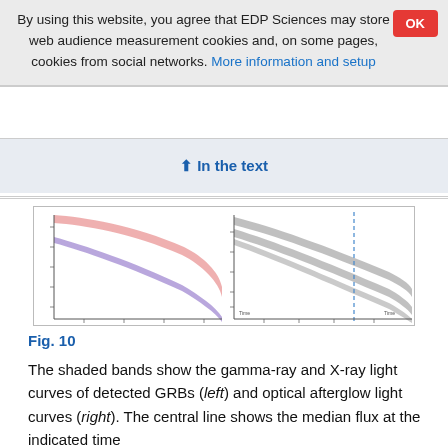By using this website, you agree that EDP Sciences may store web audience measurement cookies and, on some pages, cookies from social networks. More information and setup
↑ In the text
[Figure (continuous-plot): Two side-by-side plots: left panel shows gamma-ray and X-ray light curves of detected GRBs with red and blue/purple shaded bands on a log-log plot; right panel shows optical afterglow light curves with grey shaded bands and a blue dashed vertical line on a log-log plot.]
Fig. 10
The shaded bands show the gamma-ray and X-ray light curves of detected GRBs (left) and optical afterglow light curves (right). The central line shows the median flux at the indicated time